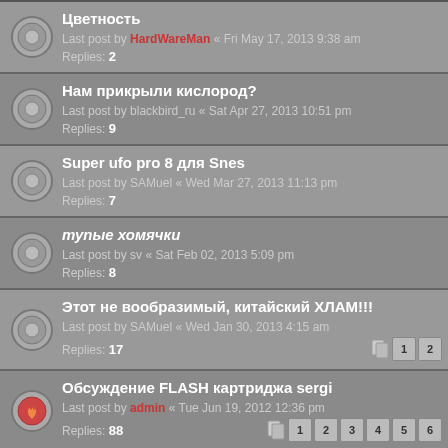Цветность — Last post by HardWareMan « Fri May 17, 2013 9:38 am — Replies: 2
Нам прикрыли кислород? — Last post by blackbird_ru « Sat Apr 27, 2013 10:51 pm — Replies: 9
Super ufo pro 8 для Snes — Last post by SAMuel « Wed Mar 27, 2013 11:13 pm — Replies: 7
тупые хомячки — Last post by sv « Sat Feb 02, 2013 5:09 pm — Replies: 8
Этот не вообразимый, китайский ХЛАМ!!! — Last post by SAMuel « Wed Jan 30, 2013 4:15 am — Replies: 17 — pages: 1 2
Обсуждение FLASH картриджа sergi — Last post by admin « Tue Jun 19, 2012 12:36 pm — Replies: 88 — pages: 1 2 3 4 5 6
Display topics from previous: All Topics